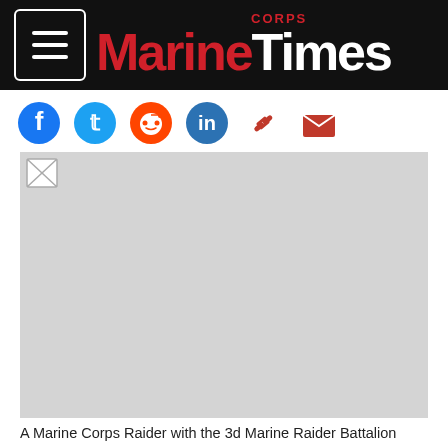Marine Corps Times
[Figure (photo): Broken/unavailable image placeholder (light gray rectangle) representing a Marine Corps Raider photo]
A Marine Corps Raider with the 3d Marine Raider Battalion